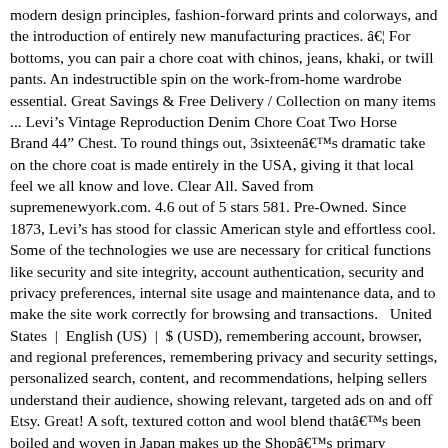modern design principles, fashion-forward prints and colorways, and the introduction of entirely new manufacturing practices. â€¦ For bottoms, you can pair a chore coat with chinos, jeans, khaki, or twill pants. An indestructible spin on the work-from-home wardrobe essential. Great Savings & Free Delivery / Collection on many items ... Levi's Vintage Reproduction Denim Chore Coat Two Horse Brand 44" Chest. To round things out, 3sixteenâ€™s dramatic take on the chore coat is made entirely in the USA, giving it that local feel we all know and love. Clear All. Saved from supremenewyork.com. 4.6 out of 5 stars 581. Pre-Owned. Since 1873, Levi's has stood for classic American style and effortless cool. Some of the technologies we use are necessary for critical functions like security and site integrity, account authentication, security and privacy preferences, internal site usage and maintenance data, and to make the site work correctly for browsing and transactions.   United States  |  English (US)  |  $ (USD), remembering account, browser, and regional preferences, remembering privacy and security settings, personalized search, content, and recommendations, helping sellers understand their audience, showing relevant, targeted ads on and off Etsy. Great! A soft, textured cotton and wool blend thatâ€™s been boiled and woven in Japan makes up the Shopâ€™s primary construction, while genuine horn buttons, a straight bottom hem, center back seam, and three-pocket front serve to define the rest of the stylish jacket. The most popular color? Saved by Anthony Augustine. FREE Shipping. Beanâ€™s Original Field Coat is no slouch in the